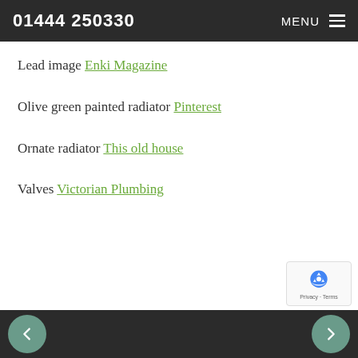01444 250330  MENU
Lead image Enki Magazine
Olive green painted radiator Pinterest
Ornate radiator This old house
Valves Victorian Plumbing